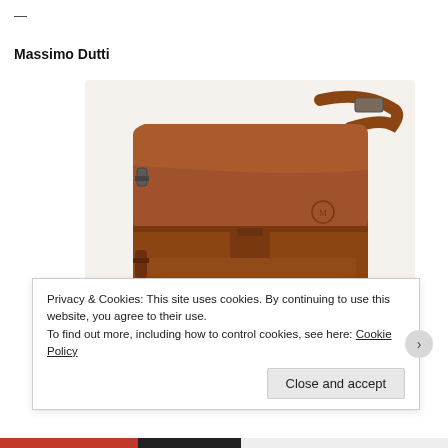—
Massimo Dutti
[Figure (photo): Brown leather messenger bag with flap closure, front clasp/tab, shoulder strap diagonally across the back, set against a light background. Massimo Dutti brand.]
Messenger Bag $245 massimo dutti
Privacy & Cookies: This site uses cookies. By continuing to use this website, you agree to their use.
To find out more, including how to control cookies, see here: Cookie Policy
Close and accept